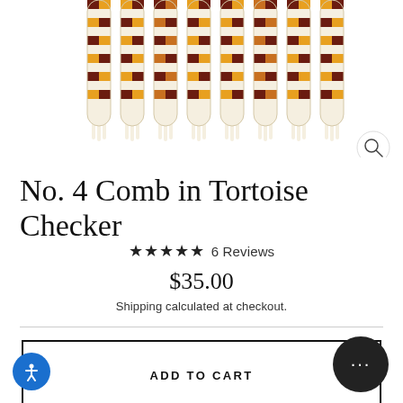[Figure (photo): Eight tortoise checker pattern hair combs arranged vertically in a row, showing checkerboard pattern in dark brown, amber, yellow, and cream/white colors]
No. 4 Comb in Tortoise Checker
★★★★★ 6 Reviews
$35.00
Shipping calculated at checkout.
ADD TO CART